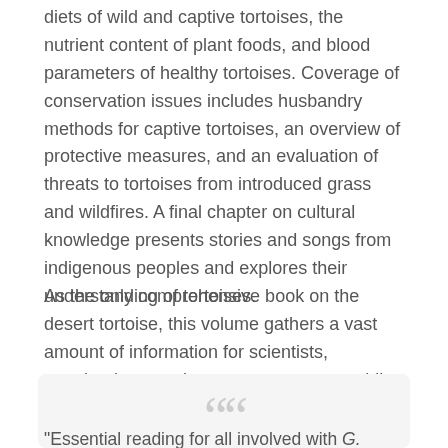diets of wild and captive tortoises, the nutrient content of plant foods, and blood parameters of healthy tortoises. Coverage of conservation issues includes husbandry methods for captive tortoises, an overview of protective measures, and an evaluation of threats to tortoises from introduced grass and wildfires. A final chapter on cultural knowledge presents stories and songs from indigenous peoples and explores their understanding of tortoises.
As the only comprehensive book on the desert tortoise, this volume gathers a vast amount of information for scientists, veterinarians, and resource managers while also remaining useful to general readers who keep desert tortoises as backyard pets. It will stand as an enduring reference on this endearing creature for years to come.
"Essential reading for all involved with G. agassizii,